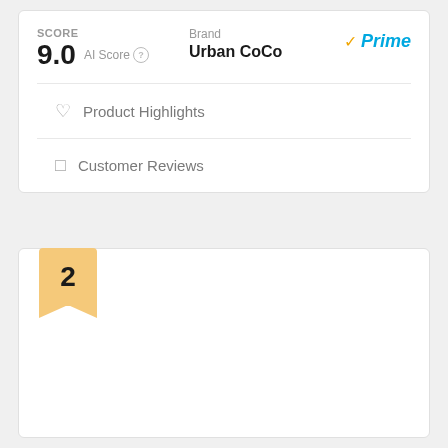SCORE 9.0 AI Score | Brand Urban CoCo | Prime
Product Highlights
Customer Reviews
2